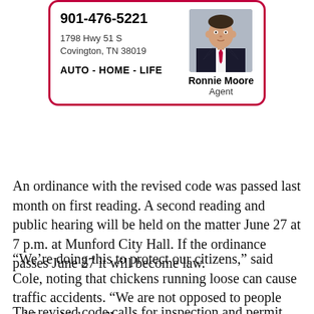[Figure (infographic): Insurance agent advertisement box with red border. Shows phone number 901-476-5221, address 1798 Hwy 51 S, Covington, TN 38019, services AUTO - HOME - LIFE, agent photo of man in suit with red tie, agent name Ronnie Moore, title Agent.]
An ordinance with the revised code was passed last month on first reading. A second reading and public hearing will be held on the matter June 27 at 7 p.m. at Munford City Hall. If the ordinance passes June 27 it will become law.
“We’re doing this to protect our citizens,” said Cole, noting that chickens running loose can cause traffic accidents. “We are not opposed to people raising chickens.”
The revised code calls for inspection and permit fees,